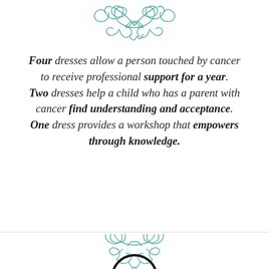[Figure (illustration): Decorative teal/turquoise calligraphic ornament flourish at the top of the page]
Four dresses allow a person touched by cancer to receive professional support for a year. Two dresses help a child who has a parent with cancer find understanding and acceptance. One dress provides a workshop that empowers through knowledge.
[Figure (illustration): Decorative teal/turquoise calligraphic ornament flourish in the lower portion of the page]
[Figure (illustration): Partial black circle arc visible at the very bottom of the page below the horizontal rule]